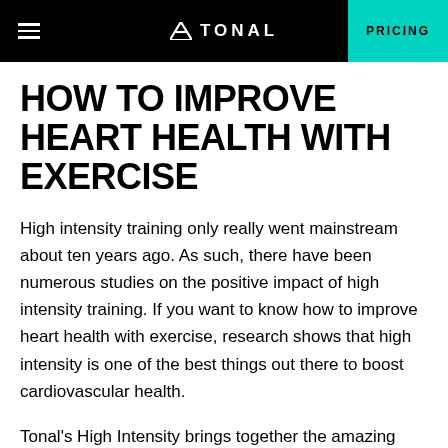TONAL  PRICING
HOW TO IMPROVE HEART HEALTH WITH EXERCISE
High intensity training only really went mainstream about ten years ago. As such, there have been numerous studies on the positive impact of high intensity training. If you want to know how to improve heart health with exercise, research shows that high intensity is one of the best things out there to boost cardiovascular health.
Tonal's High Intensity brings together the amazing benefits of strength training with cardio. The combination of weights with fast-paced bursts of speed